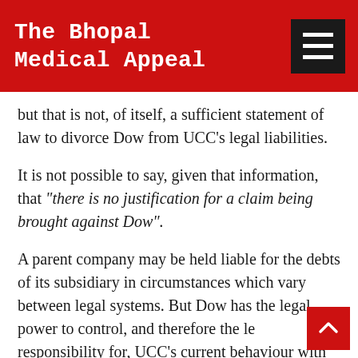The Bhopal Medical Appeal
but that is not, of itself, a sufficient statement of law to divorce Dow from UCC's legal liabilities.
It is not possible to say, given that information, that "there is no justification for a claim being brought against Dow".
A parent company may be held liable for the debts of its subsidiary in circumstances which vary between legal systems. But Dow has the legal power to control, and therefore the legal responsibility for, UCC's current behaviour with